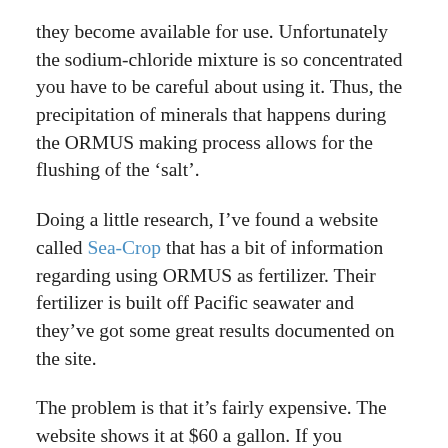they become available for use. Unfortunately the sodium-chloride mixture is so concentrated you have to be careful about using it. Thus, the precipitation of minerals that happens during the ORMUS making process allows for the flushing of the ‘salt’.
Doing a little research, I’ve found a website called Sea-Crop that has a bit of information regarding using ORMUS as fertilizer. Their fertilizer is built off Pacific seawater and they’ve got some great results documented on the site.
The problem is that it’s fairly expensive. The website shows it at $60 a gallon. If you consider their application directions, they suggest 2 to 4 gallons per acre.